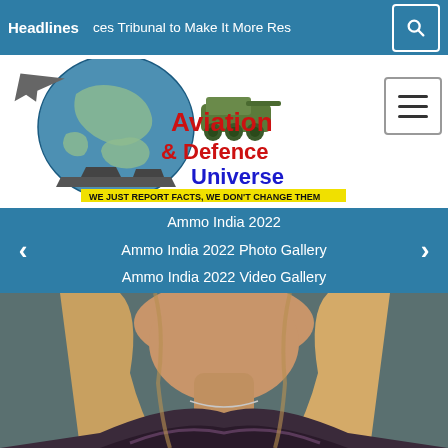Headlines   ces Tribunal to Make It More Res
[Figure (logo): Aviation & Defence Universe logo with globe, aircraft, ships, tank imagery and tagline 'WE JUST REPORT FACTS, WE DON'T CHANGE THEM']
Ammo India 2022
Ammo India 2022 Photo Gallery
Ammo India 2022 Video Gallery
[Figure (photo): Close-up photo of a blonde woman, cropped, showing face and upper body, wearing a dark patterned top]